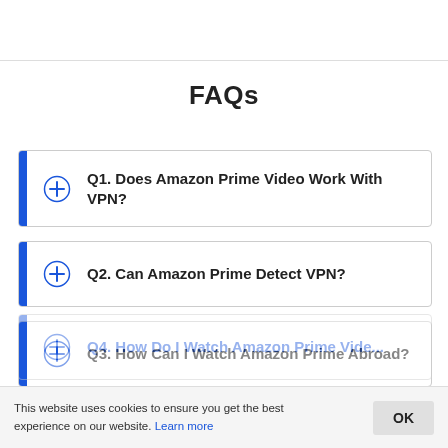FAQs
Q1. Does Amazon Prime Video Work With VPN?
Q2. Can Amazon Prime Detect VPN?
Q3. How Can I Watch Amazon Prime Abroad?
Q4. How Do I Watch Amazon Prime Video...
This website uses cookies to ensure you get the best experience on our website. Learn more